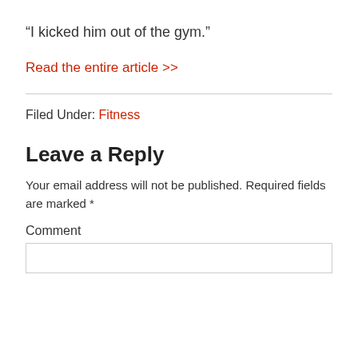“I kicked him out of the gym.”
Read the entire article >>
Filed Under: Fitness
Leave a Reply
Your email address will not be published. Required fields are marked *
Comment